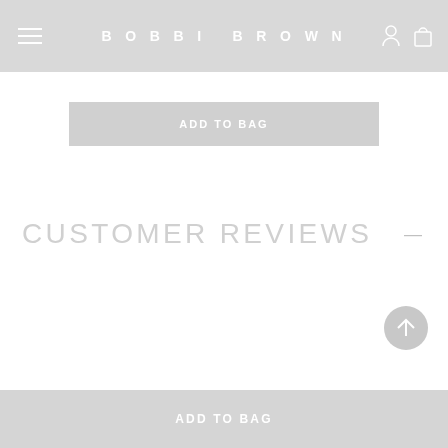BOBBI BROWN
ADD TO BAG
CUSTOMER REVIEWS
[Figure (other): Scroll to top circular button with upward arrow]
ADD TO BAG